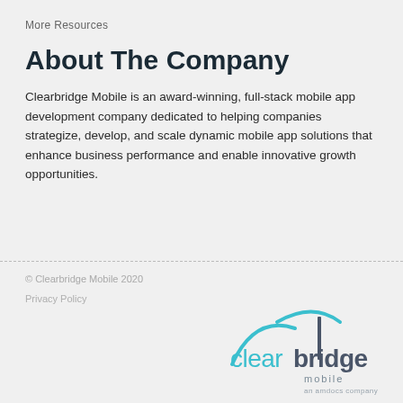More Resources
About The Company
Clearbridge Mobile is an award-winning, full-stack mobile app development company dedicated to helping companies strategize, develop, and scale dynamic mobile app solutions that enhance business performance and enable innovative growth opportunities.
© Clearbridge Mobile 2020
Privacy Policy
[Figure (logo): Clearbridge Mobile logo — 'clear' in cyan/teal, 'bridge' in dark gray, with curved arc lines above and 'mobile an amdocs company' below in smaller text]